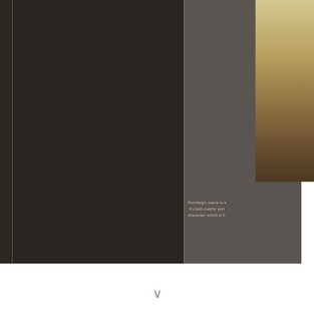[Figure (photo): A dark-toned page spread showing a large dark/black left panel and a gray right panel. On the right side, a partial photograph showing people in period costumes (white clothing, formal attire) standing, likely from a theatrical production. Below the photo is text about Fezziwig's scene.]
Fezziwig's scene is a It's both catchy and character, which is fi